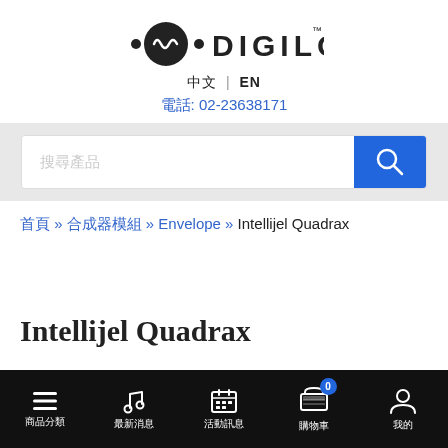[Figure (logo): Digilog brand logo with circular waveform icon, dots on each side, DIGILOG text in bold uppercase, TM superscript]
中文 | EN
電話: 02-23638171
[Figure (other): Search bar with placeholder text and blue search button with magnifier icon]
首頁 » 合成器模組 » Envelope » Intellijel Quadrax
Intellijel Quadrax
[Figure (other): Bottom navigation bar with icons for menu, music/products, calendar/events, shopping cart (badge 0), and user account]